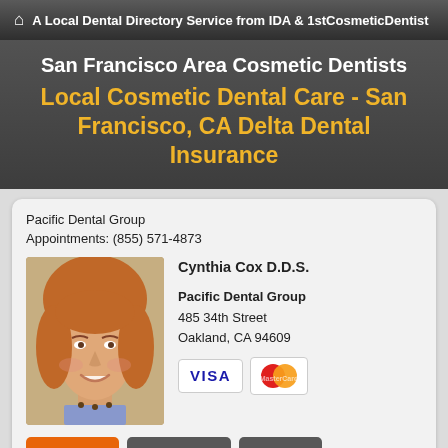A Local Dental Directory Service from IDA & 1stCosmeticDentist
San Francisco Area Cosmetic Dentists
Local Cosmetic Dental Care - San Francisco, CA Delta Dental Insurance
Pacific Dental Group
Appointments: (855) 571-4873
[Figure (photo): Headshot photo of Dr. Cynthia Cox, a smiling woman with reddish-brown hair]
Cynthia Cox D.D.S.
Pacific Dental Group
485 34th Street
Oakland, CA 94609
[Figure (logo): VISA and MasterCard payment logos]
Make Appt
Meet Dr. Cox
Website
more info ...